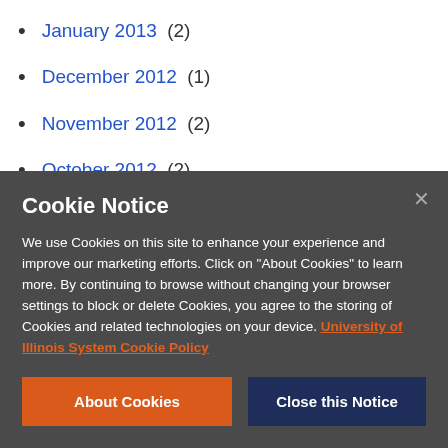January 2013 (2)
December 2012 (1)
November 2012 (2)
October 2012 (2)
August 2012 (2)
July 2012 (2)
Cookie Notice

We use Cookies on this site to enhance your experience and improve our marketing efforts. Click on "About Cookies" to learn more. By continuing to browse without changing your browser settings to block or delete Cookies, you agree to the storing of Cookies and related technologies on your device. University of Illinois System Cookie Policy
About Cookies | Close this Notice